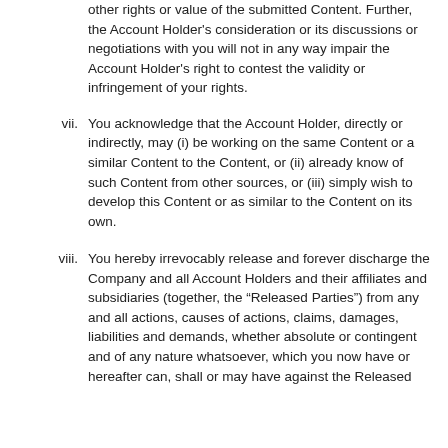other rights or value of the submitted Content. Further, the Account Holder's consideration or its discussions or negotiations with you will not in any way impair the Account Holder's right to contest the validity or infringement of your rights.
vii. You acknowledge that the Account Holder, directly or indirectly, may (i) be working on the same Content or a similar Content to the Content, or (ii) already know of such Content from other sources, or (iii) simply wish to develop this Content or as similar to the Content on its own.
viii. You hereby irrevocably release and forever discharge the Company and all Account Holders and their affiliates and subsidiaries (together, the “Released Parties”) from any and all actions, causes of actions, claims, damages, liabilities and demands, whether absolute or contingent and of any nature whatsoever, which you now have or hereafter can, shall or may have against the Released